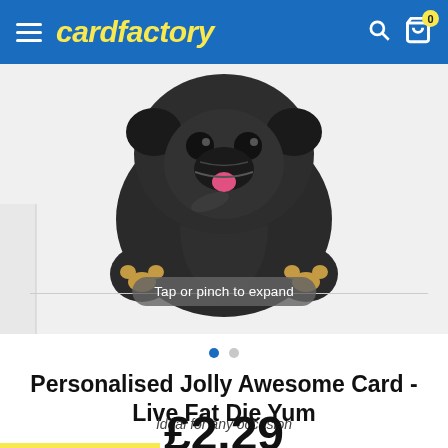cardfactory
[Figure (photo): Bottom view of a black French Bulldog dog, showing its belly, paws, and tail from above, photographed on white background]
Tap or pinch to expand
Personalised Jolly Awesome Card - Live Fat Die Yum
Ideal for any occasion
£2.29